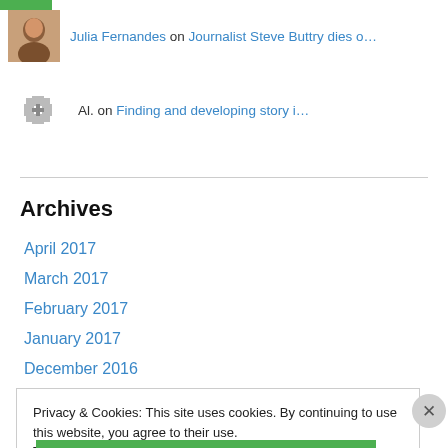Julia Fernandes on Journalist Steve Buttry dies o…
Al. on Finding and developing story i…
Archives
April 2017
March 2017
February 2017
January 2017
December 2016
Privacy & Cookies: This site uses cookies. By continuing to use this website, you agree to their use.
To find out more, including how to control cookies, see here: Cookie Policy